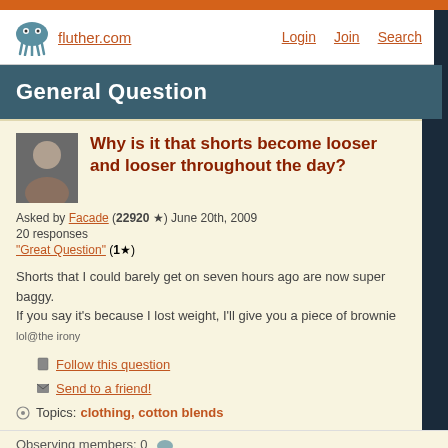fluther.com  Login  Join  Search
General Question
Why is it that shorts become looser and looser throughout the day?
Asked by Facade (22920 ★) June 20th, 2009
20 responses
"Great Question" (1★)
Shorts that I could barely get on seven hours ago are now super baggy. If you say it's because I lost weight, I'll give you a piece of brownie lol@the irony
Follow this question
Send to a friend!
Topics: clothing, cotton blends
Observing members: 0